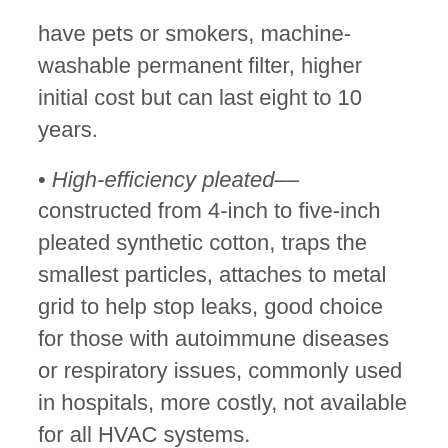have pets or smokers, machine-washable permanent filter, higher initial cost but can last eight to 10 years.
• High-efficiency pleated––constructed from 4-inch to five-inch pleated synthetic cotton, traps the smallest particles, attaches to metal grid to help stop leaks, good choice for those with autoimmune diseases or respiratory issues, commonly used in hospitals, more costly, not available for all HVAC systems.
Sizes
Just as there are different types of filters